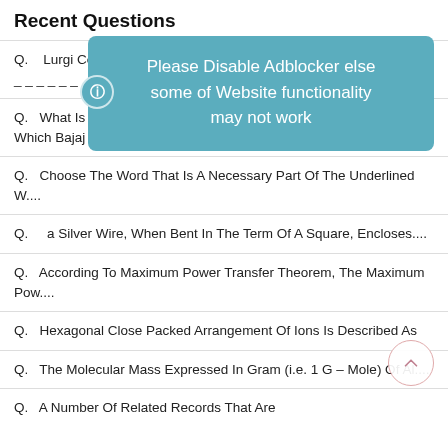Recent Questions
Q.   Lurgi Coal Gasifier Is A Pressurised _ _ _ _ _ _ _ _ _ _ _ _ ed Reactor....
Q.   What Is The Minimum Total Travel Fare In Which Bajaj Can Com....
Q.   Choose The Word That Is A Necessary Part Of The Underlined W....
Q.    a Silver Wire, When Bent In The Term Of A Square, Encloses....
Q.   According To Maximum Power Transfer Theorem, The Maximum Pow....
Q.   Hexagonal Close Packed Arrangement Of Ions Is Described As
Q.   The Molecular Mass Expressed In Gram (i.e. 1 G – Mole) Of Al....
Q.   A Number Of Related Records That Are